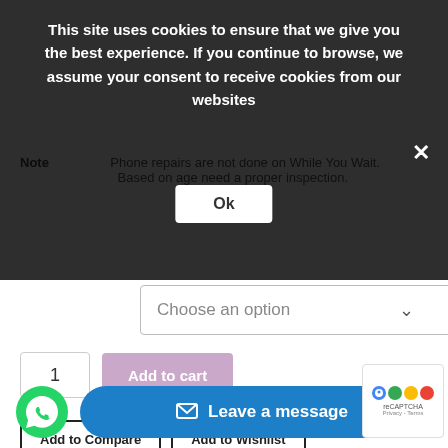This site uses cookies to ensure that we give you the best experience. If you continue to browse, we assume your consent to receive cookies from our websites
Ok
Note
Phone repairs are not done on While You Wait. Based on age need a proper inspection.
Choose an option
1
Add to cart
Add to Compare
Add to Wishlist
Additional information
Reviews (0)
Additional inf
Leave a message